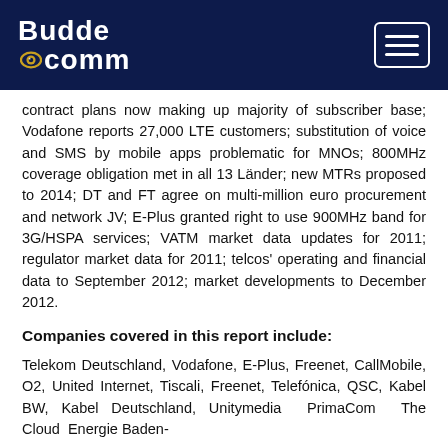BuddeComm [logo with navigation menu button]
contract plans now making up majority of subscriber base; Vodafone reports 27,000 LTE customers; substitution of voice and SMS by mobile apps problematic for MNOs; 800MHz coverage obligation met in all 13 Länder; new MTRs proposed to 2014; DT and FT agree on multi-million euro procurement and network JV; E-Plus granted right to use 900MHz band for 3G/HSPA services; VATM market data updates for 2011; regulator market data for 2011; telcos' operating and financial data to September 2012; market developments to December 2012.
Companies covered in this report include:
Telekom Deutschland, Vodafone, E-Plus, Freenet, CallMobile, O2, United Internet, Tiscali, Freenet, Telefónica, QSC, Kabel BW, Kabel Deutschland, Unitymedia PrimaCom The Cloud Energie Baden-